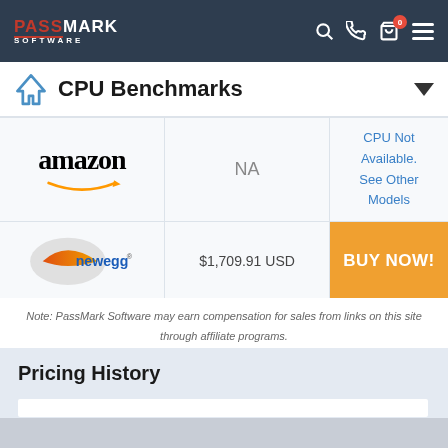PassMark Software
CPU Benchmarks
| Store | Price | Action |
| --- | --- | --- |
| amazon | NA | CPU Not Available. See Other Models |
| newegg | $1,709.91 USD | BUY NOW! |
Note: PassMark Software may earn compensation for sales from links on this site through affiliate programs.
Pricing History